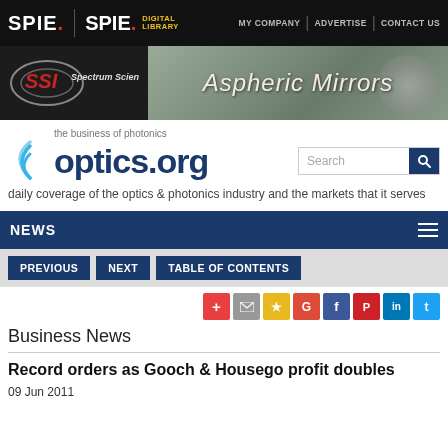SPIE. SPIE. DIGITAL LIBRARY | MY COMPANY | ADVERTISE | CONTACT US
[Figure (screenshot): SSI Spectrum Scientific Inc. advertisement banner for Aspheric Mirrors]
[Figure (logo): optics.org logo with tagline 'the business of photonics' and search box]
daily coverage of the optics & photonics industry and the markets that it serves
NEWS
PREVIOUS   NEXT   TABLE OF CONTENTS
Business News
Record orders as Gooch & Housego profit doubles
09 Jun 2011